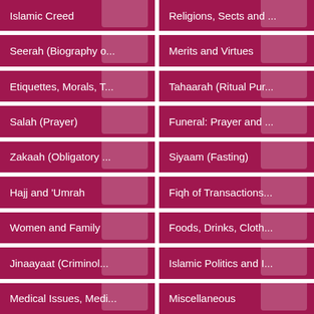Islamic Creed
Religions, Sects and ...
Seerah (Biography o...
Merits and Virtues
Etiquettes, Morals, T...
Tahaarah (Ritual Pur...
Salah (Prayer)
Funeral: Prayer and ...
Zakaah (Obligatory ...
Siyaam (Fasting)
Hajj and 'Umrah
Fiqh of Transactions...
Women and Family
Foods, Drinks, Cloth...
Jinaayaat (Criminol...
Islamic Politics and I...
Medical Issues, Medi...
Miscellaneous